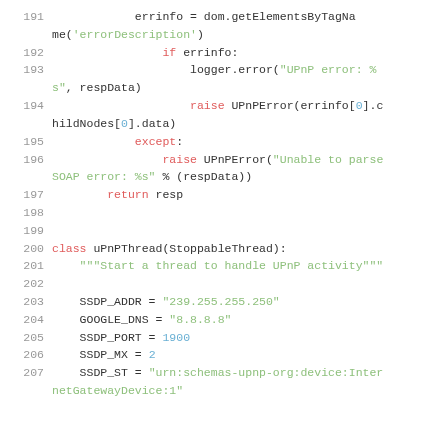Code listing lines 191-207: Python source code showing UPnP error handling and uPnPThread class definition